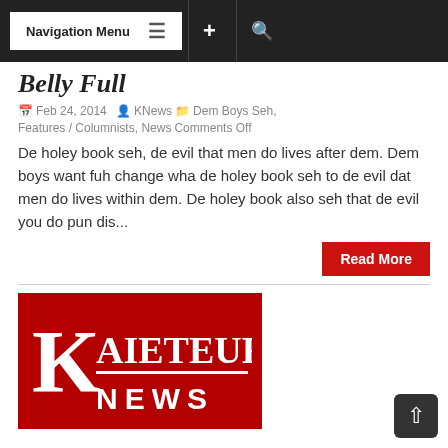Navigation Menu
Belly Full
Feb 24, 2014  KNews  Dem Boys Seh, Features / Columnists, News Comments Off
De holey book seh, de evil that men do lives after dem. Dem boys want fuh change wha de holey book seh to de evil dat men do lives within dem. De holey book also seh that de evil you do pun dis...
Read More
[Figure (logo): Kaieteur News logo: large red background with white K and AIETEUR text on top line, white divider, NEWS text below in white letters]